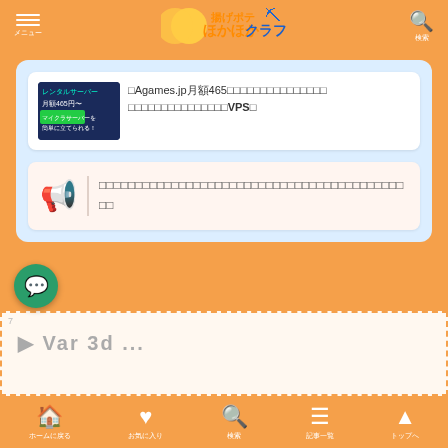ほかほかクラフト
Agames.jp月額465円〜のマイクラサーバーが簡単に立てられる！ VPSを
コメントを書き込むには、ログインもしくは登録をしてください。
ホームに戻る お気に入り 検索 記事一覧 トップへ